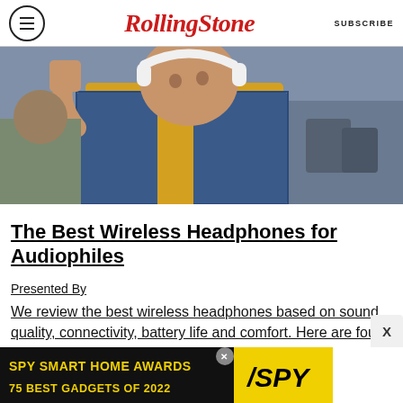Rolling Stone  SUBSCRIBE
[Figure (photo): A young woman wearing white wireless headphones, a denim jacket, and a yellow shirt, sitting on public transit looking to the side.]
The Best Wireless Headphones for Audiophiles
Presented By
We review the best wireless headphones based on sound quality, connectivity, battery life and comfort. Here are four to buy online.
[Figure (infographic): Advertisement banner: SPY SMART HOME AWARDS 75 BEST GADGETS OF 2022 with SPY logo on yellow background]